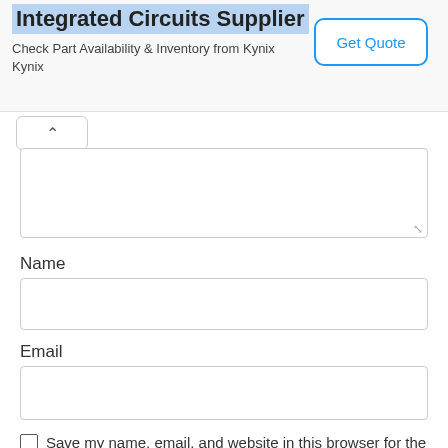[Figure (screenshot): Advertisement banner for Kynix Integrated Circuits Supplier with Get Quote button]
[Figure (screenshot): Collapse/chevron-up button]
[Figure (screenshot): Comment textarea input box]
Name
[Figure (screenshot): Name input text field]
Email
[Figure (screenshot): Email input text field]
Save my name, email, and website in this browser for the next time I comment.
[Figure (screenshot): Post Comment button (teal/green rounded)]